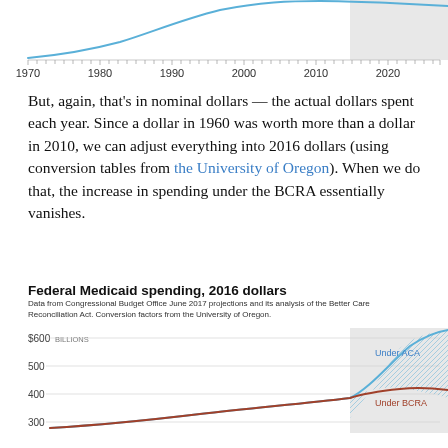[Figure (continuous-plot): Top portion of a line chart showing federal Medicaid spending in nominal dollars from approximately 1965 to 2026, with a shaded projection region starting around 2017. The line curves steeply upward.]
But, again, that's in nominal dollars — the actual dollars spent each year. Since a dollar in 1960 was worth more than a dollar in 2010, we can adjust everything into 2016 dollars (using conversion tables from the University of Oregon). When we do that, the increase in spending under the BCRA essentially vanishes.
Federal Medicaid spending, 2016 dollars
Data from Congressional Budget Office June 2017 projections and its analysis of the Better Care Reconciliation Act. Conversion factors from the University of Oregon.
[Figure (continuous-plot): Line chart showing Federal Medicaid spending in 2016 dollars. Y-axis shows $600 BILLIONS at top, then 500, 400, 300. Two lines diverge in the shaded future projection area (post ~2017): 'Under ACA' (blue line going higher) and 'Under BCRA' (dark red/brown line going lower). Hatched area between the two lines shows the difference.]